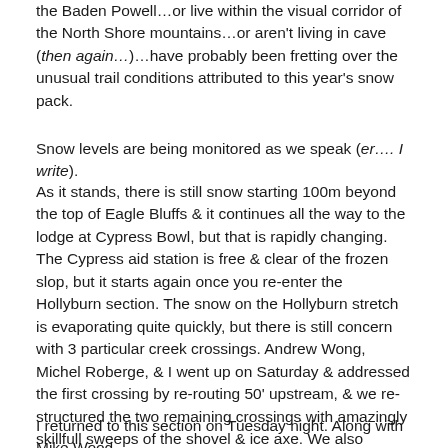the Baden Powell…or live within the visual corridor of the North Shore mountains…or aren't living in cave (then again…)…have probably been fretting over the unusual trail conditions attributed to this year's snow pack.
Snow levels are being monitored as we speak (er…. I write).
As it stands, there is still snow starting 100m beyond the top of Eagle Bluffs & it continues all the way to the lodge at Cypress Bowl, but that is rapidly changing. The Cypress aid station is free & clear of the frozen slop, but it starts again once you re-enter the Hollyburn section. The snow on the Hollyburn stretch is evaporating quite quickly, but there is still concern with 3 particular creek crossings. Andrew Wong, Michel Roberge, & I went up on Saturday & addressed the first crossing by re-routing 50' upstream, & we re-structured the two remaining crossings with amazingly skillfull sweeps of the shovel & ice axe. We also attempted to destroy potential post-hole hazards.
I returned to this section on Tuesday night. Along with Mike Wood… and the remote Singletrack Pro The…